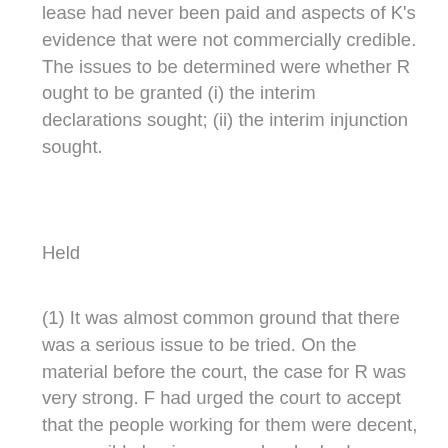lease had never been paid and aspects of K's evidence that were not commercially credible. The issues to be determined were whether R ought to be granted (i) the interim declarations sought; (ii) the interim injunction sought.
Held
(1) It was almost common ground that there was a serious issue to be tried. On the material before the court, the case for R was very strong. F had urged the court to accept that the people working for them were decent, responsible business people who had entered into a commitment with a substantial annual rent pursuant to a standard form lease. However, despite being professional people, F had failed to take advice and in a potentially complex transaction, there was very little if anything to